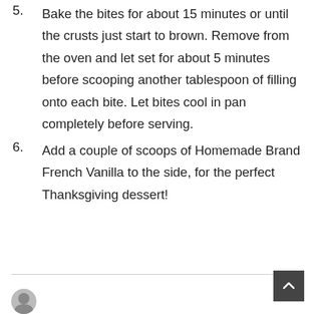5. Bake the bites for about 15 minutes or until the crusts just start to brown. Remove from the oven and let set for about 5 minutes before scooping another tablespoon of filling onto each bite. Let bites cool in pan completely before serving.
6. Add a couple of scoops of Homemade Brand French Vanilla to the side, for the perfect Thanksgiving dessert!